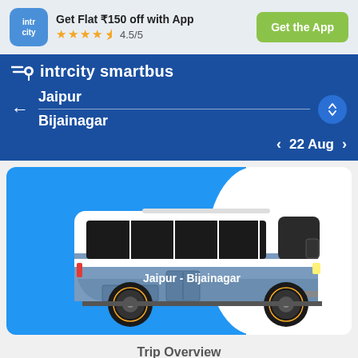[Figure (screenshot): IntrCity app promotional banner with logo, 4.5/5 star rating, and Get the App button]
Get Flat ₹150 off with App
★★★★½ 4.5/5
Get the App
intrcity smartbus
Jaipur
Bijainagar
22 Aug
[Figure (illustration): Blue and white intercity bus illustration with text 'Jaipur - Bijainagar' on its side, shown on a blue curved background]
Trip Overview